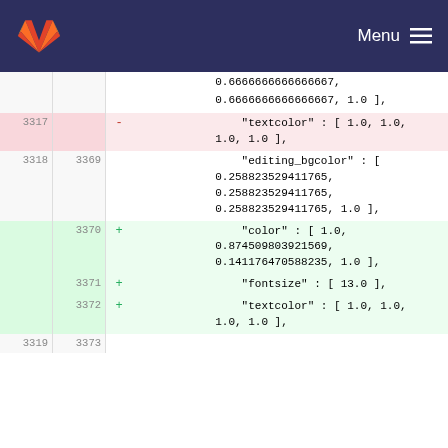GitLab Menu
| old | new | marker | code |
| --- | --- | --- | --- |
|  |  |  | 0.6666666666666667, |
|  |  |  | 0.6666666666666667, 1.0 ], |
| 3317 |  | - | "textcolor" : [ 1.0, 1.0, 1.0, 1.0 ], |
| 3318 | 3369 |  | "editing_bgcolor" : [ 0.258823529411765, 0.258823529411765, 0.258823529411765, 1.0 ], |
|  | 3370 | + | "color" : [ 1.0, 0.874509803921569, 0.141176470588235, 1.0 ], |
|  | 3371 | + | "fontsize" : [ 13.0 ], |
|  | 3372 | + | "textcolor" : [ 1.0, 1.0, 1.0, 1.0 ], |
| 3319 | 3373 |  |  |